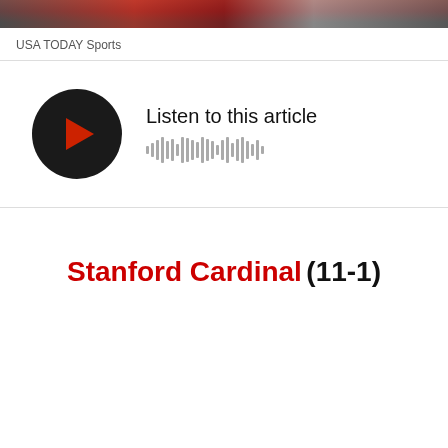[Figure (photo): Cropped sports photo showing red athletic clothing/sneakers]
USA TODAY Sports
[Figure (other): Audio player with play button and waveform. Text: Listen to this article]
Stanford Cardinal (11-1)